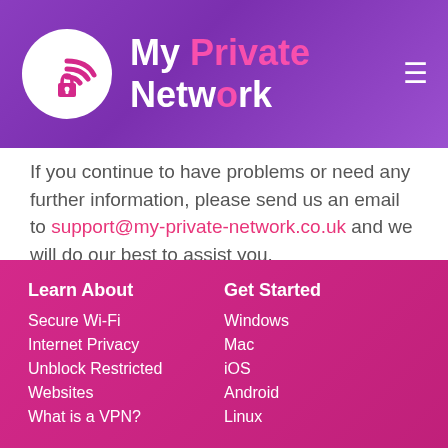My Private Network
If you continue to have problems or need any further information, please send us an email to support@my-private-network.co.uk and we will do our best to assist you.
[Figure (other): Small placeholder image box with a rectangle icon]
Learn About
Secure Wi-Fi
Internet Privacy
Unblock Restricted Websites
What is a VPN?

Get Started
Windows
Mac
iOS
Android
Linux